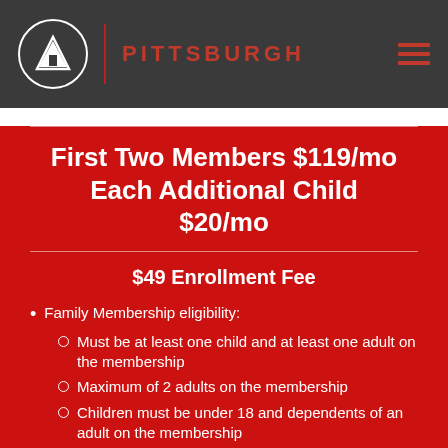PITTSBURGH
First Two Members $119/mo Each Additional Child $20/mo
$49 Enrollment Fee
Family Membership eligibility:
Must be at least one child and at least one adult on the membership
Maximum of 2 adults on the membership
Children must be under 18 and dependents of an adult on the membership
Membership dues are billed to one individual